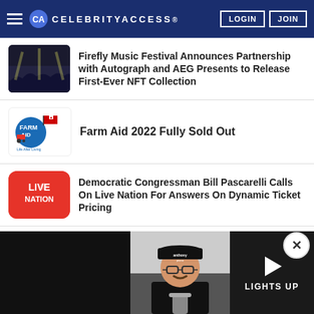CELEBRITYACCESS® — LOGIN | JOIN
Firefly Music Festival Announces Partnership with Autograph and AEG Presents to Release First-Ever NFT Collection
Farm Aid 2022 Fully Sold Out
Democratic Congressman Bill Pascarelli Calls On Live Nation For Answers On Dynamic Ticket Pricing
How To Craft An Elevator Pitch For Your Music
[Figure (screenshot): Video popup showing a person with glasses and mustache wearing a black cap, with 'LIGHTS UP' text and a play button, and a close (X) button overlay]